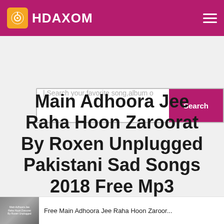HDAXOM
[Figure (screenshot): Search bar with placeholder text 'Search your favorite song,album o' and a pink Search button]
Main Adhoora Jee Raha Hoon Zaroorat By Roxen Unplugged Pakistani Sad Songs 2018 Free Mp3 Download
Free Main Adhoora Jee Raha Hoon Zaroor...